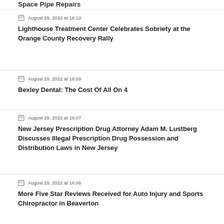Space Pipe Repairs
August 29, 2022 at 16:10 — Lighthouse Treatment Center Celebrates Sobriety at the Orange County Recovery Rally
August 29, 2022 at 16:09 — Bexley Dental: The Cost Of All On 4
August 29, 2022 at 16:07 — New Jersey Prescription Drug Attorney Adam M. Lustberg Discusses Illegal Prescription Drug Possession and Distribution Laws in New Jersey
August 29, 2022 at 16:06 — More Five Star Reviews Received for Auto Injury and Sports Chiropractor in Beaverton